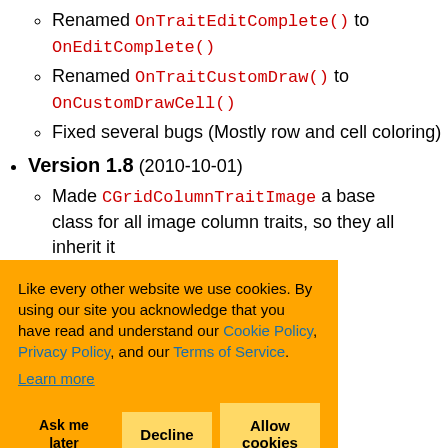Renamed OnTraitEditComplete() to OnEditComplete()
Renamed OnTraitCustomDraw() to OnCustomDrawCell()
Fixed several bugs (Mostly row and cell coloring)
Version 1.8 (2010-10-01)
Made CGridColumnTraitImage a base class for all image column traits, so they all inherit it
... ion checkbox ... flipped for all
... column width ... it
Like every other website we use cookies. By using our site you acknowledge that you have read and understand our Cookie Policy, Privacy Policy, and our Terms of Service. Learn more
Ask me later | Decline | Allow cookies
Version 1.7 (2011-09-09)